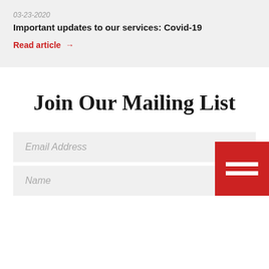03-23-2020
Important updates to our services: Covid-19
Read article →
Join Our Mailing List
Email Address
Name
[Figure (infographic): Red square icon with two white horizontal bars, resembling a menu/list icon, positioned at bottom-right corner]